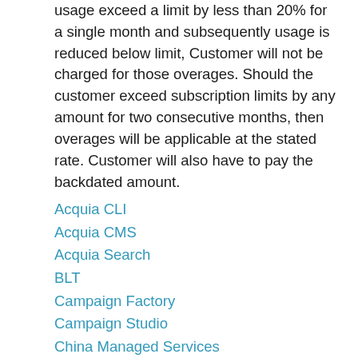usage exceed a limit by less than 20% for a single month and subsequently usage is reduced below limit, Customer will not be charged for those overages. Should the customer exceed subscription limits by any amount for two consecutive months, then overages will be applicable at the stated rate. Customer will also have to pay the backdated amount.
Acquia CLI
Acquia CMS
Acquia Search
BLT
Campaign Factory
Campaign Studio
China Managed Services
Cloud IDE
Cloud Platform
Code Studio